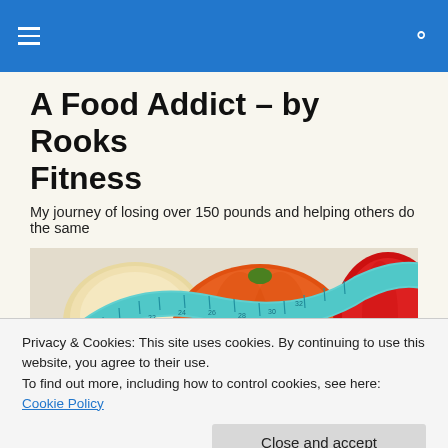Navigation bar with hamburger menu and search icon
A Food Addict – by Rooks Fitness
My journey of losing over 150 pounds and helping others do the same
[Figure (photo): Vegetables and a measuring tape — an orange tomato/pumpkin wrapped with a cyan measuring tape, a pale round object (possibly an onion or bread roll), and a red bell pepper on a light background.]
Privacy & Cookies: This site uses cookies. By continuing to use this website, you agree to their use.
To find out more, including how to control cookies, see here: Cookie Policy
These burgers are delicious (and much healthier than